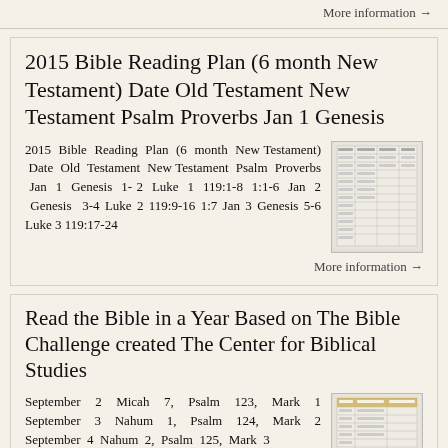More information →
2015 Bible Reading Plan (6 month New Testament) Date Old Testament New Testament Psalm Proverbs Jan 1 Genesis
2015 Bible Reading Plan (6 month New Testament) Date Old Testament New Testament Psalm Proverbs Jan 1 Genesis 1-2 Luke 1 119:1-8 1:1-6 Jan 2 Genesis 3-4 Luke 2 119:9-16 1:7 Jan 3 Genesis 5-6 Luke 3 119:17-24
[Figure (table-as-image): Thumbnail image of a Bible reading plan table]
More information →
Read the Bible in a Year Based on The Bible Challenge created The Center for Biblical Studies
September 2 Micah 7, Psalm 123, Mark 1 September 3 Nahum 1, Psalm 124, Mark 2 September 4 Nahum 2, Psalm 125, Mark 3
[Figure (table-as-image): Thumbnail image of a Bible reading plan table with orange header]